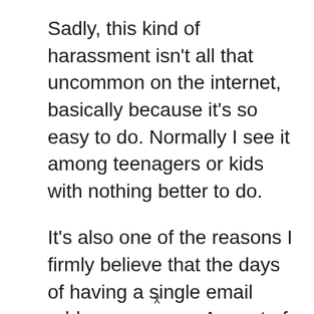Sadly, this kind of harassment isn't all that uncommon on the internet, basically because it's so easy to do. Normally I see it among teenagers or kids with nothing better to do.

It's also one of the reasons I firmly believe that the days of having a single email address are over. As part of maintaining our privacy for both this, and things like spam, I advocate